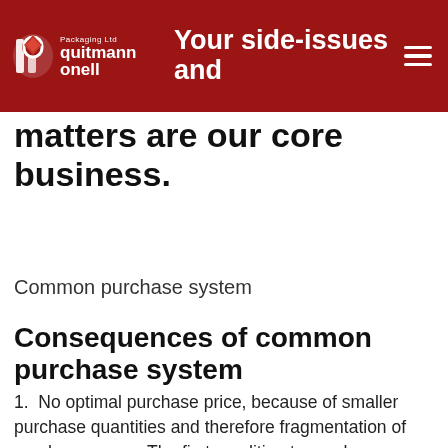Quitmann Onell Packaging Ltd — Your side-issues and matters are our core business.
Your side-issues and matters are our core business.
Common purchase system
Consequences of common purchase system
1. No optimal purchase price, because of smaller purchase quantities and therefore fragmentation of purchase power. The first condition to reach a more optimized price starts with full